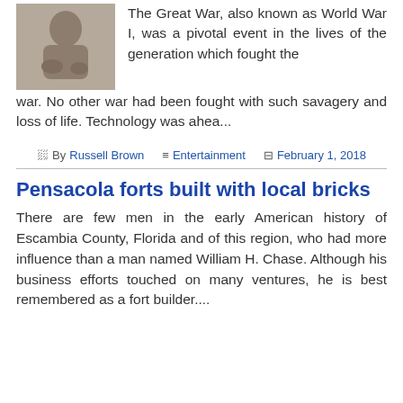[Figure (photo): Black and white photograph of a person sitting, partial view at top of page]
The Great War, also known as World War I, was a pivotal event in the lives of the generation which fought the war. No other war had been fought with such savagery and loss of life. Technology was ahea...
By Russell Brown  Entertainment  February 1, 2018
Pensacola forts built with local bricks
There are few men in the early American history of Escambia County, Florida and of this region, who had more influence than a man named William H. Chase. Although his business efforts touched on many ventures, he is best remembered as a fort builder....